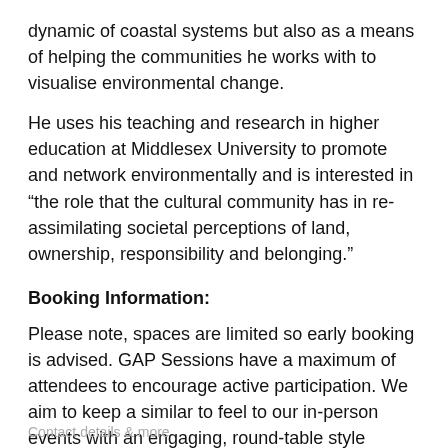dynamic of coastal systems but also as a means of helping the communities he works with to visualise environmental change.
He uses his teaching and research in higher education at Middlesex University to promote and network environmentally and is interested in “the role that the cultural community has in re-assimilating societal perceptions of land, ownership, responsibility and belonging.”
Booking Information:
Please note, spaces are limited so early booking is advised. GAP Sessions have a maximum of attendees to encourage active participation. We aim to keep a similar to feel to our in-person events with an engaging, round-table style discussion.